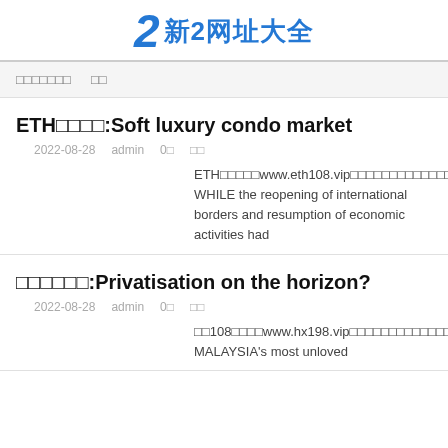2 新2网址大全
□□□□□□□  □□
ETH□□□□:Soft luxury condo market
2022-08-28   admin   0□   □□
ETH□□□□□www.eth108.vip□□□□□□□□□□□□□□□□□□ETH□□□□□□□□□□□□□□□□□□□ WHILE the reopening of international borders and resumption of economic activities had
□□□□□□:Privatisation on the horizon?
2022-08-28   admin   0□   □□
□□108□□□□www.hx198.vip□□□□□□□□□□□□□□□□□□□□□□□□□□□□□□□□□□108□□□□□□□□□□□□□□□□□□□□□□□□□□ MALAYSIA's most unloved